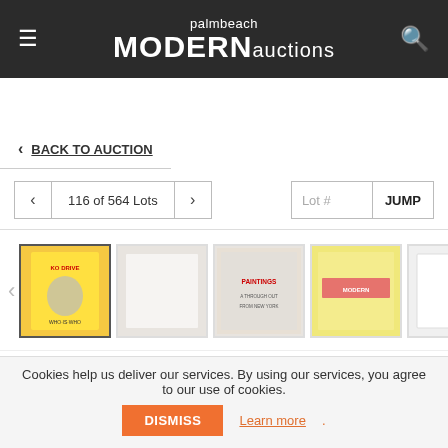palmbeach MODERN auctions
< BACK TO AUCTION
116 of 564 Lots
[Figure (screenshot): Row of 5 auction lot thumbnail images showing vintage posters/artworks. First thumbnail (active/selected) shows a yellow boxing match poster. Second is a light-colored poster. Third shows 'PAINTINGS A THROUGH OUT FROM NEW YORK'. Fourth shows a yellow and pink/red design. Fifth is a plain white/blank image.]
116 ☆
Cookies help us deliver our services. By using our services, you agree to our use of cookies.
DISMISS   Learn more.